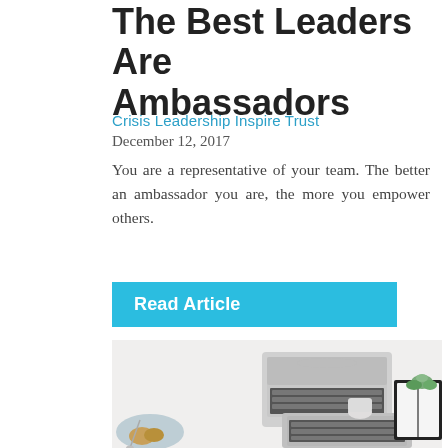The Best Leaders Are Ambassadors
Crisis Leadership Inspire Trust
December 12, 2017
You are a representative of your team. The better an ambassador you are, the more you empower others.
Read Article
[Figure (photo): Overhead/top-down view of a desk workspace with two laptops, an open notebook with a small succulent plant, a candle, a plate with cookies and a spoon, all on a light grey/white surface.]